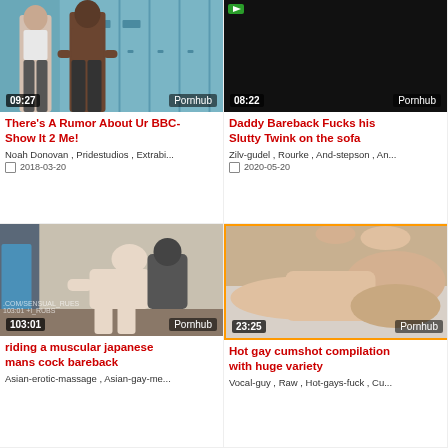[Figure (photo): Video thumbnail showing two muscular men in a locker room with blue lockers, duration 09:27, source Pornhub]
There's A Rumor About Ur BBC- Show It 2 Me!
Noah Donovan , Pridestudios , Extrabi...
2018-03-20
[Figure (photo): Video thumbnail showing mostly black/dark image, duration 08:22, source Pornhub]
Daddy Bareback Fucks his Slutty Twink on the sofa
Zilv-gudel , Rourke , And-stepson , An...
2020-05-20
[Figure (photo): Video thumbnail showing person in bathroom, watermark .COM/SENSUAL_RUES and 103:01, source Pornhub]
riding a muscular japanese mans cock bareback
Asian-erotic-massage , Asian-gay-me...
[Figure (photo): Video thumbnail with orange border showing close-up skin tones, duration 23:25, source Pornhub]
Hot gay cumshot compilation with huge variety
Vocal-guy , Raw , Hot-gays-fuck , Cu...